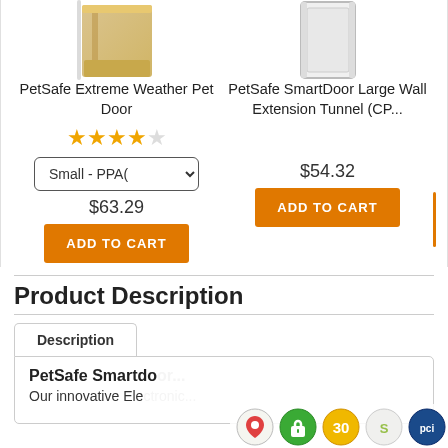[Figure (photo): Product image of PetSafe Extreme Weather Pet Door (partial, top cropped)]
PetSafe Extreme Weather Pet Door
[Figure (photo): Product image of PetSafe SmartDoor Large Wall Extension Tunnel (CP...) (partial, top cropped)]
PetSafe SmartDoor Large Wall Extension Tunnel (CP...
[Figure (other): 4 out of 5 stars rating (4 filled stars, 1 empty star)]
Small - PPA(
$63.29
$54.32
ADD TO CART
ADD TO CART
Product Description
Description
PetSafe Smartdo
Our innovative Ele